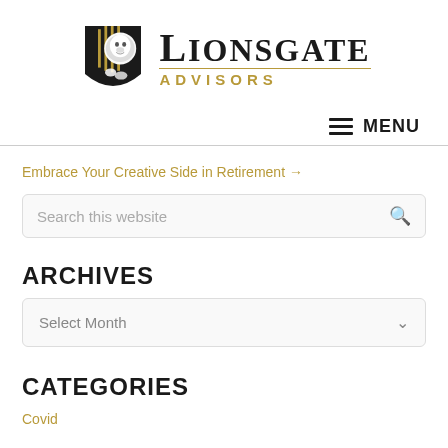[Figure (logo): Lionsgate Advisors logo with lion shield emblem in black and gold, text 'LIONSGATE' in large bold serif and 'ADVISORS' in gold uppercase sans-serif below]
≡ MENU
Embrace Your Creative Side in Retirement →
Search this website
ARCHIVES
Select Month
CATEGORIES
Covid